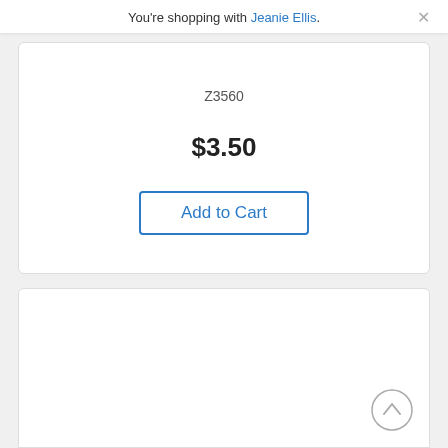You're shopping with Jeanie Ellis.
Z3560
$3.50
Add to Cart